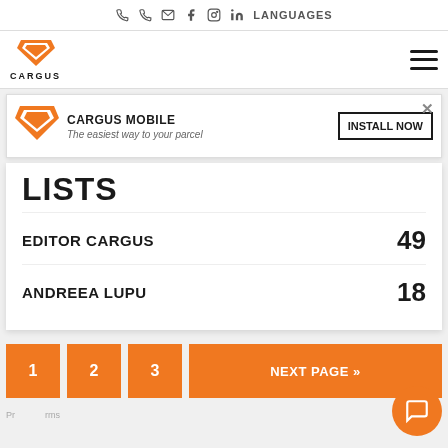Phone | Phone | Email | Facebook | Instagram | LinkedIn | LANGUAGES
[Figure (logo): Cargus logo — orange shield with white stripes and text CARGUS below]
[Figure (infographic): App install banner: Cargus orange logo icon, text CARGUS MOBILE - The easiest way to your parcel, INSTALL NOW button, and X close button]
LISTS
EDITOR CARGUS  49
ANDREEA LUPU  18
1  2  3  NEXT PAGE »